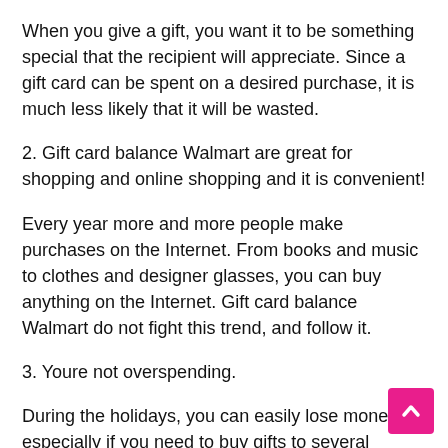When you give a gift, you want it to be something special that the recipient will appreciate. Since a gift card can be spent on a desired purchase, it is much less likely that it will be wasted.
2. Gift card balance Walmart are great for shopping and online shopping and it is convenient!
Every year more and more people make purchases on the Internet. From books and music to clothes and designer glasses, you can buy anything on the Internet. Gift card balance Walmart do not fight this trend, and follow it.
3. Youre not overspending.
During the holidays, you can easily lose money, especially if you need to buy gifts to several people. The advantage of buying gift card balance Walmart is that they can be bought with a set value.
You will not be tempted to spend a large amount. If your budget is limited, a gift card will help ensure you buy gifts